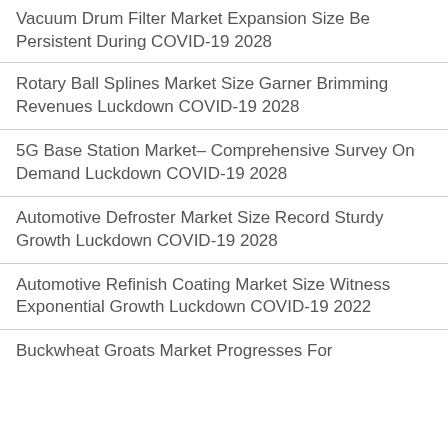Vacuum Drum Filter Market Expansion Size Be Persistent During COVID-19 2028
Rotary Ball Splines Market Size Garner Brimming Revenues Luckdown COVID-19 2028
5G Base Station Market– Comprehensive Survey On Demand Luckdown COVID-19 2028
Automotive Defroster Market Size Record Sturdy Growth Luckdown COVID-19 2028
Automotive Refinish Coating Market Size Witness Exponential Growth Luckdown COVID-19 2022
Buckwheat Groats Market Progresses For